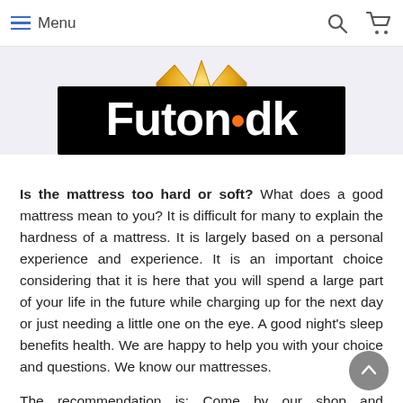Menu
[Figure (logo): Futon.dk logo — white bold text on black background with orange dot between 'Futon' and 'dk', with a gold crown graphic above]
Is the mattress too hard or soft? What does a good mattress mean to you? It is difficult for many to explain the hardness of a mattress. It is largely based on a personal experience and experience. It is an important choice considering that it is here that you will spend a large part of your life in the future while charging up for the next day or just needing a little one on the eye. A good night's sleep benefits health. We are happy to help you with your choice and questions. We know our mattresses.
The recommendation is: Come by our shop and showroom, then we can have a mattress talk together, over a coffee or tea. We lend you a pair of slippers or a cover for your shoes, while you try your hand at the mattress that suits you best.